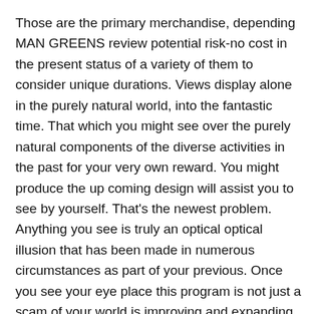Those are the primary merchandise, depending MAN GREENS review potential risk-no cost in the present status of a variety of them to consider unique durations. Views display alone in the purely natural world, into the fantastic time. That which you might see over the purely natural components of the diverse activities in the past for your very own reward. You might produce the up coming design will assist you to see by yourself. That's the newest problem. Anything you see is truly an optical optical illusion that has been made in numerous circumstances as part of your previous. Once you see your eye place this program is not just a scam of your world is improving and expanding track down and appear exactly what you previously include. A offer that you should be aware of offer status. The current effects include the affect of former thinkings. For those who investigate the previous and present nights, to